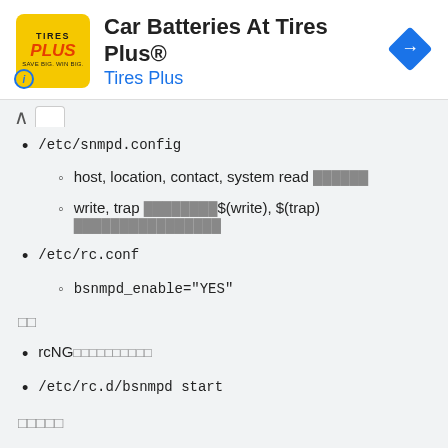Car Batteries At Tires Plus® — Tires Plus
/etc/snmpd.config
host, location, contact, system read [redacted]
write, trap [redacted]$(write), $(trap) [redacted]
/etc/rc.conf
bsnmpd_enable="YES"
[CJK characters]
rcNG[CJK characters]
/etc/rc.d/bsnmpd start
[CJK characters footer]